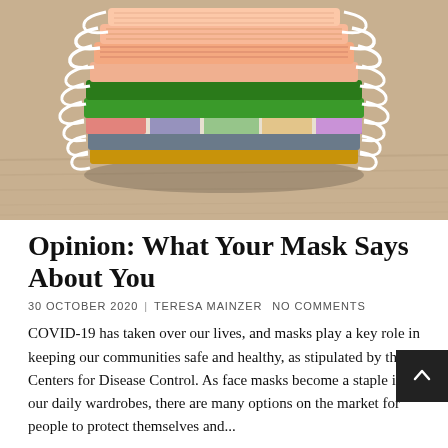[Figure (photo): A stack of colorful cloth face masks piled on a wooden surface. Masks include peach/orange, green, patterned, yellow, and blue/grey colors with white elastic ear loops.]
Opinion: What Your Mask Says About You
30 OCTOBER 2020 | TERESA MAINZER  NO COMMENTS
COVID-19 has taken over our lives, and masks play a key role in keeping our communities safe and healthy, as stipulated by the Centers for Disease Control. As face masks become a staple in our daily wardrobes, there are many options on the market for people to protect themselves and...